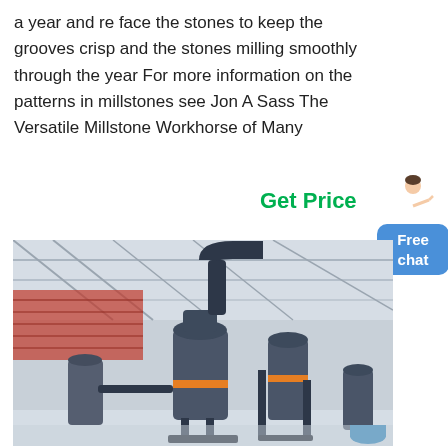a year and re face the stones to keep the grooves crisp and the stones milling smoothly through the year For more information on the patterns in millstones see Jon A Sass The Versatile Millstone Workhorse of Many
Get Price
[Figure (photo): Industrial milling machines inside a large factory/warehouse with metal roof structure. Multiple grey vertical roller mills with connecting pipes and hoppers are visible on a polished factory floor.]